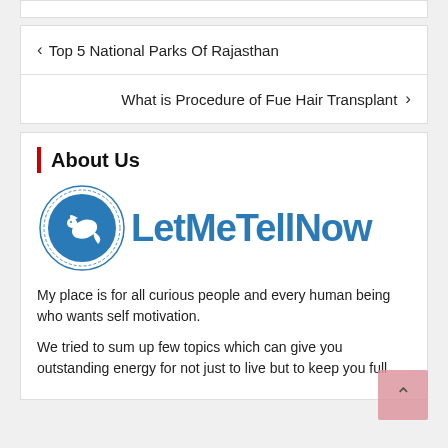< Top 5 National Parks Of Rajasthan
What is Procedure of Fue Hair Transplant >
About Us
[Figure (logo): LetMeTellNow logo — blue circular icon with dove, followed by the text LetMeTellNow in bold blue letters]
My place is for all curious people and every human being who wants self motivation.
We tried to sum up few topics which can give you outstanding energy for not just to live but to keep you full of inner beauty.